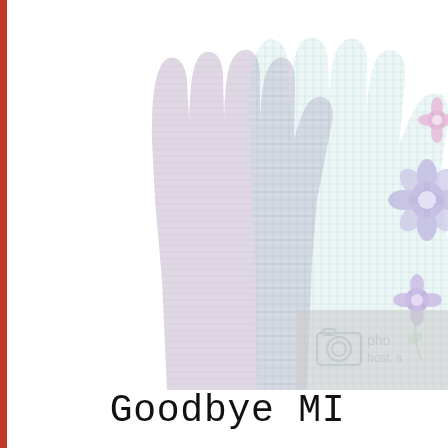[Figure (illustration): Two overlapping stylized hand silhouettes: one plain lavender/gray hand with horizontal line texture, one with a teal grid pattern and colorful floral decorations (purple and pink flowers) on the right side. A photo hosting watermark (camera icon and 'pho host. s' text) overlays the center-right area.]
Goodbye MI